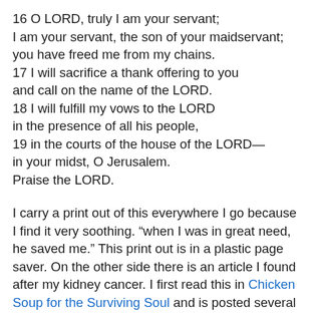16 O LORD, truly I am your servant;
I am your servant, the son of your maidservant;
you have freed me from my chains.
17 I will sacrifice a thank offering to you
and call on the name of the LORD.
18 I will fulfill my vows to the LORD
in the presence of all his people,
19 in the courts of the house of the LORD—
in your midst, O Jerusalem.
Praise the LORD.
I carry a print out of this everywhere I go because I find it very soothing. “when I was in great need, he saved me.” This print out is in a plastic page saver. On the other side there is an article I found after my kidney cancer. I first read this in Chicken Soup for the Surviving Soul and is posted several places online.